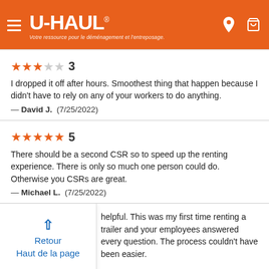U-HAUL® — Votre ressource pour le déménagement et l'entreposage.
★★★☆☆ 3
I dropped it off after hours. Smoothest thing that happen because I didn't have to rely on any of your workers to do anything.
— David J.  (7/25/2022)
★★★★★ 5
There should be a second CSR so to speed up the renting experience. There is only so much one person could do. Otherwise you CSRs are great.
— Michael L.  (7/25/2022)
Retour
Haut de la page
helpful. This was my first time renting a trailer and your employees answered every question. The process couldn't have been easier.